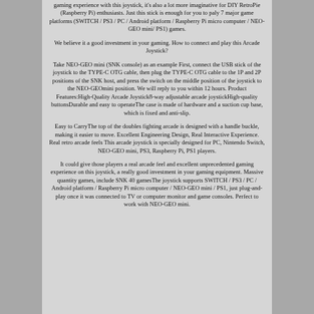gaming experience with this joystick, it's also a lot more imaginative for DIY RetroPie (Raspberry Pi) enthusiasts. Just this stick is enough for you to paly 7 major game platforms (SWITCH / PS3 / PC / Android platform / Raspberry Pi micro computer / NEO-GEO mini/ PS1) games.
We believe it a good investment in your gaming. How to connect and play this Arcade Joystick?
Take NEO-GEO mini (SNK console) as an example First, connect the USB stick of the joystick to the TYPE-C OTG cable, then plug the TYPE-C OTG cable to the 1P and 2P positions of the SNK host, and press the switch on the middle position of the joystick to the NEO-GEOmini position. We will reply to you within 12 hours. Product Features:High-Quality Arcade Joystick8-way adjustable arcade joystickHigh-quality buttonsDurable and easy to operateThe case is made of hardware and a suction cup base, which is fixed and anti-slip.
Easy to CarryThe top of the doubles fighting arcade is designed with a handle buckle, making it easier to move. Excellent Engineering Design, Real Interactive Experience. Real retro arcade feels This arcade joystick is specially designed for PC, Nintendo Switch, NEO-GEO mini, PS3, Raspberry Pi, PS1 players.
It could give those players a real arcade feel and excellent unprecedented gaming experience on this joystick, a really good investment in your gaming equipment. Massive quantity games, include SNK 40 gamesThe joystick supports SWITCH / PS3 / PC / Android platform / Raspberry Pi micro computer / NEO-GEO mini / PS1, just plug-and-play once it was connected to TV or computer monitor and game consoles. Perfect to work with NEO-GEO mini.